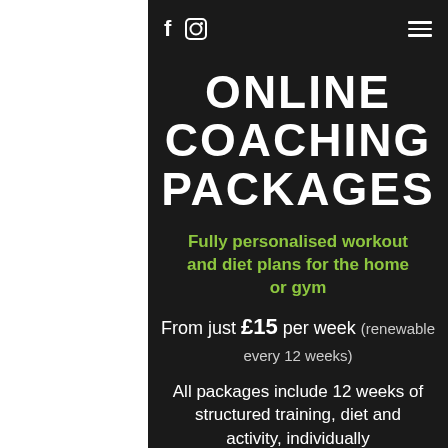f  [Instagram icon]  [Hamburger menu]
ONLINE COACHING PACKAGES
Fully personalised workout and diet plans for the home or gym
From just £15 per week (renewable every 12 weeks)
All packages include 12 weeks of structured training, diet and activity, individually designed to meet your goals,